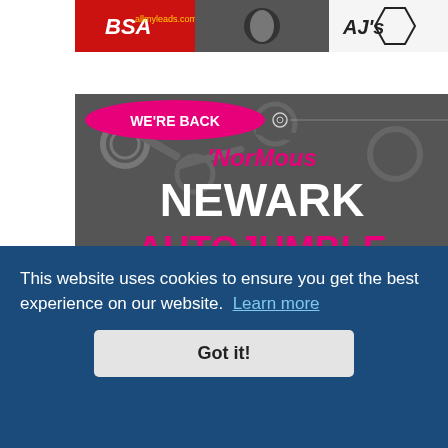[Figure (photo): Top strip showing motorcycle-related logos and imagery including BSA and AJS brand logos with a motorcycle rider]
[Figure (illustration): Newark Autojumble advertisement banner. Dark background with motorcycle parts. Pink splash banner reads 'WE'RE BACK'. Pink text reads ''NorMous'. White bold text reads 'NEWARK'. Pink bold text reads 'AUTOJUMBLE'. Pink bar reads 'GET YOUR'. Faded text at bottom. Partially obscured by cookie consent overlay.]
This website uses cookies to ensure you get the best experience on our website. Learn more
Got it!
INSURANCE